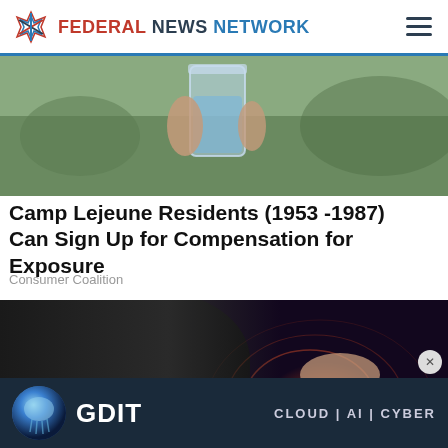FEDERAL NEWS NETWORK
[Figure (photo): A person holding a glass of water outdoors]
Camp Lejeune Residents (1953 -1987) Can Sign Up for Compensation for Exposure
Consumer Coalition
[Figure (photo): Person in dark clothing with hip/knee area highlighted in red with ripple circles indicating pain]
[Figure (photo): GDIT advertisement banner — CLOUD | AI | CYBER with jellyfish image]